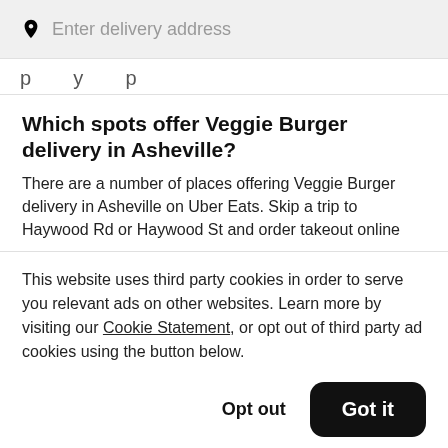Enter delivery address
p y p
Which spots offer Veggie Burger delivery in Asheville?
There are a number of places offering Veggie Burger delivery in Asheville on Uber Eats. Skip a trip to Haywood Rd or Haywood St and order takeout online
This website uses third party cookies in order to serve you relevant ads on other websites. Learn more by visiting our Cookie Statement, or opt out of third party ad cookies using the button below.
Opt out
Got it